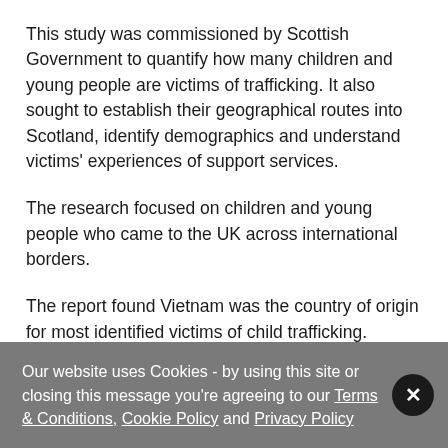This study was commissioned by Scottish Government to quantify how many children and young people are victims of trafficking. It also sought to establish their geographical routes into Scotland, identify demographics and understand victims' experiences of support services.
The research focused on children and young people who came to the UK across international borders.
The report found Vietnam was the country of origin for most identified victims of child trafficking. However, there remain many unknown features and aspects of journeys and routes for most children. The findings are of the study are not definitive due to limited information available and the number of agencies who engaged. The
Our website uses Cookies - by using this site or closing this message you're agreeing to our Terms & Conditions, Cookie Policy and Privacy Policy